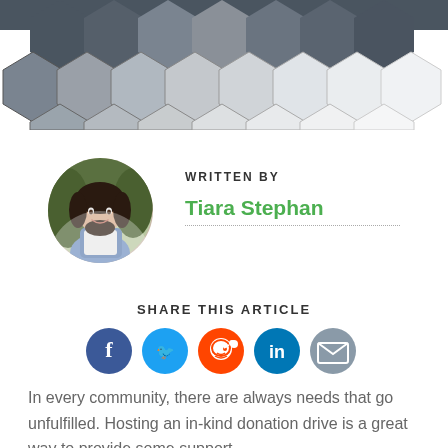[Figure (illustration): Decorative hexagon pattern banner at the top of the page in shades of gray and white, with a dark photo visible at the top center behind the hexagons]
[Figure (photo): Circular profile photo of a young woman with dark hair, wearing a white shirt under a light blue apron or pinafore, smiling, outdoors background]
WRITTEN BY
Tiara Stephan
SHARE THIS ARTICLE
[Figure (infographic): Row of five social media share icons: Facebook (dark blue), Twitter (light blue), Reddit (orange-red), LinkedIn (teal/blue), Email (gray)]
In every community, there are always needs that go unfulfilled. Hosting an in-kind donation drive is a great way to provide some support.